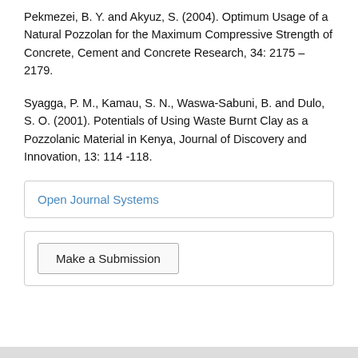Pekmezei, B. Y. and Akyuz, S. (2004). Optimum Usage of a Natural Pozzolan for the Maximum Compressive Strength of Concrete, Cement and Concrete Research, 34: 2175 – 2179.
Syagga, P. M., Kamau, S. N., Waswa-Sabuni, B. and Dulo, S. O. (2001). Potentials of Using Waste Burnt Clay as a Pozzolanic Material in Kenya, Journal of Discovery and Innovation, 13: 114 -118.
Open Journal Systems
Make a Submission